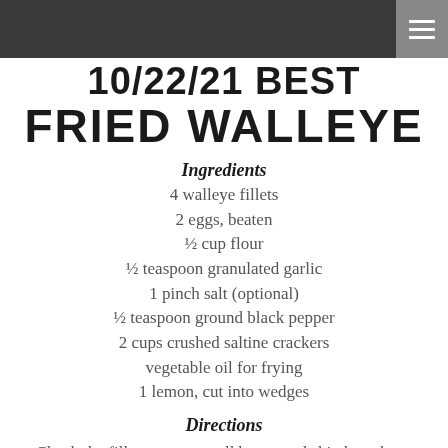10/22/21 BEST FRIED WALLEYE
Ingredients
4 walleye fillets
2 eggs, beaten
½ cup flour
½ teaspoon granulated garlic
1 pinch salt (optional)
½ teaspoon ground black pepper
2 cups crushed saltine crackers
vegetable oil for frying
1 lemon, cut into wedges
Directions
Check the fillets to ensure all bones and skin have been removed. Cut the fillets into manageable pieces, if necessary. Beat eggs in a bowl and set aside. Combine the flour, garlic